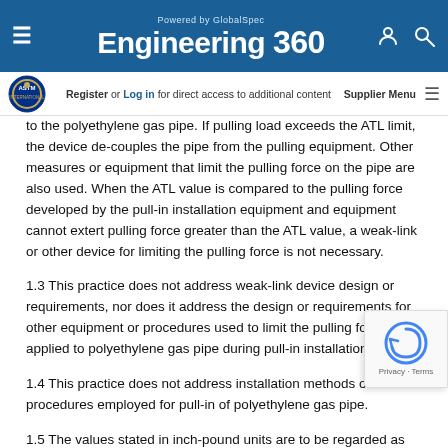Engineering 360 — Powered by GlobalSpec
Register or Log in for direct access to additional content | Supplier Menu
to the polyethylene gas pipe. If pulling load exceeds the ATL limit, the device de-couples the pipe from the pulling equipment. Other measures or equipment that limit the pulling force on the pipe are also used. When the ATL value is compared to the pulling force developed by the pull-in installation equipment and equipment cannot extert pulling force greater than the ATL value, a weak-link or other device for limiting the pulling force is not necessary.
1.3 This practice does not address weak-link device design or requirements, nor does it address the design or requirements for other equipment or procedures used to limit the pulling force applied to polyethylene gas pipe during pull-in installation.
1.4 This practice does not address installation methods or procedures employed for pull-in of polyethylene gas pipe.
1.5 The values stated in inch-pound units are to be regarded as